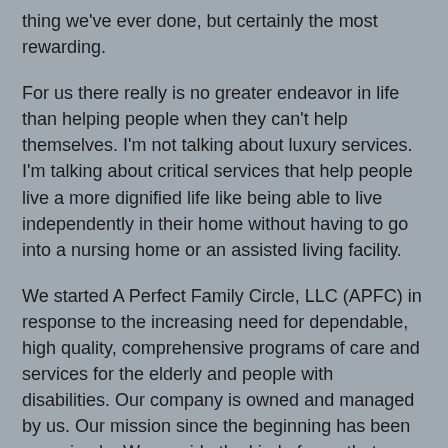thing we've ever done, but certainly the most rewarding.
For us there really is no greater endeavor in life than helping people when they can't help themselves. I'm not talking about luxury services. I'm talking about critical services that help people live a more dignified life like being able to live independently in their home without having to go into a nursing home or an assisted living facility.
We started A Perfect Family Circle, LLC (APFC) in response to the increasing need for dependable, high quality, comprehensive programs of care and services for the elderly and people with disabilities. Our company is owned and managed by us. Our mission since the beginning has been very simple. We provide the kind of care that we would give to our own family members. In order to do that, we first needed to build a family of caregivers that feel the same way we do. We don't provide typical personnel staffing services like others in our industry whose only concern is to match a caregiver with a client and receive a referral fee. As the owners of the business, we are active participants in every aspect of a client's plan of care and take every step